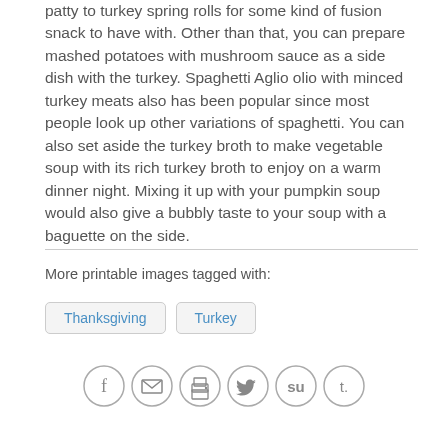patty to turkey spring rolls for some kind of fusion snack to have with. Other than that, you can prepare mashed potatoes with mushroom sauce as a side dish with the turkey. Spaghetti Aglio olio with minced turkey meats also has been popular since most people look up other variations of spaghetti. You can also set aside the turkey broth to make vegetable soup with its rich turkey broth to enjoy on a warm dinner night. Mixing it up with your pumpkin soup would also give a bubbly taste to your soup with a baguette on the side.
More printable images tagged with:
Thanksgiving
Turkey
[Figure (infographic): Social sharing icons row: Facebook, Email, Print, Twitter, StumbleUpon, Tumblr]